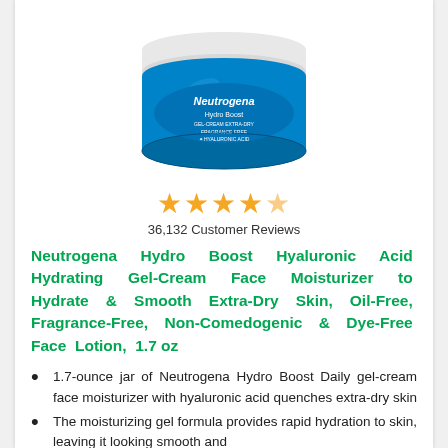[Figure (photo): Neutrogena Hydro Boost Gel-Cream face moisturizer product photo showing blue jar with white lid]
★★★★½ 36,132 Customer Reviews
Neutrogena Hydro Boost Hyaluronic Acid Hydrating Gel-Cream Face Moisturizer to Hydrate & Smooth Extra-Dry Skin, Oil-Free, Fragrance-Free, Non-Comedogenic & Dye-Free Face Lotion, 1.7 oz
1.7-ounce jar of Neutrogena Hydro Boost Daily gel-cream face moisturizer with hyaluronic acid quenches extra-dry skin
The moisturizing gel formula provides rapid hydration to skin, leaving it looking smooth and